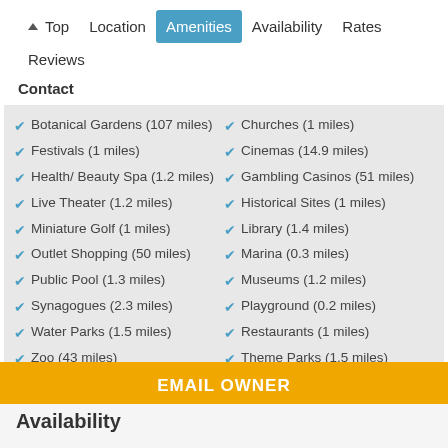↑ Top   Location   Amenities   Availability   Rates   Reviews   Contact
Botanical Gardens (107 miles)
Festivals (1 miles)
Health/ Beauty Spa (1.2 miles)
Live Theater (1.2 miles)
Miniature Golf (1 miles)
Outlet Shopping (50 miles)
Public Pool (1.3 miles)
Synagogues (2.3 miles)
Water Parks (1.5 miles)
Zoo (43 miles)
Churches (1 miles)
Cinemas (14.9 miles)
Gambling Casinos (51 miles)
Historical Sites (1 miles)
Library (1.4 miles)
Marina (0.3 miles)
Museums (1.2 miles)
Playground (0.2 miles)
Restaurants (1 miles)
Theme Parks (1.5 miles)
Winery Tours (35.9 miles)
EMAIL OWNER
Availability